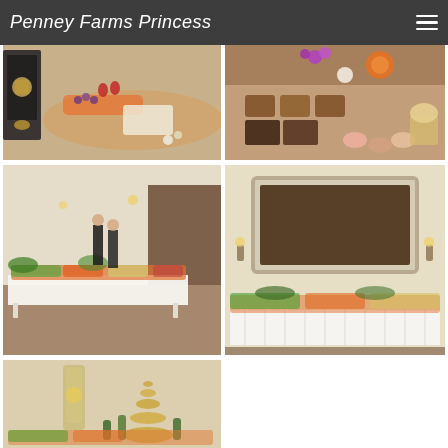Penney Farms Princess
[Figure (photo): Grazing table with charcuterie, vegetables, fruits, cheeses, and a black lantern candle holder on the left side]
[Figure (photo): Close-up of dessert tray with cookies, chocolate pieces, macarons, orange slices, and pink flowers]
[Figure (photo): Long banquet table with elaborate grazing spread in a white hall with two people in black standing beside it]
[Figure (photo): White skirted head table with a grazing spread below a large framed dark brown panel on the wall]
[Figure (photo): Partial view of a grazing/food display table with greenery and lantern decorations]